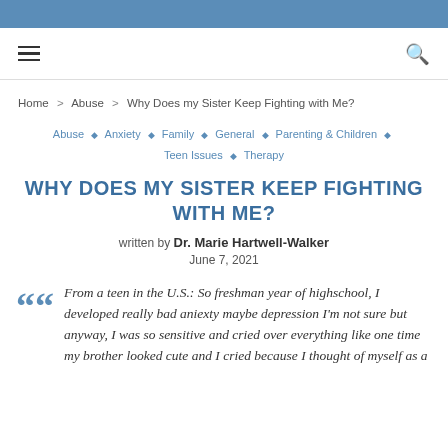Home > Abuse > Why Does my Sister Keep Fighting with Me?
Abuse ◇ Anxiety ◇ Family ◇ General ◇ Parenting & Children ◇ Teen Issues ◇ Therapy
WHY DOES MY SISTER KEEP FIGHTING WITH ME?
written by Dr. Marie Hartwell-Walker
June 7, 2021
From a teen in the U.S.: So freshman year of highschool, I developed really bad aniexty maybe depression I'm not sure but anyway, I was so sensitive and cried over everything like one time my brother looked cute and I cried because I thought of myself as a